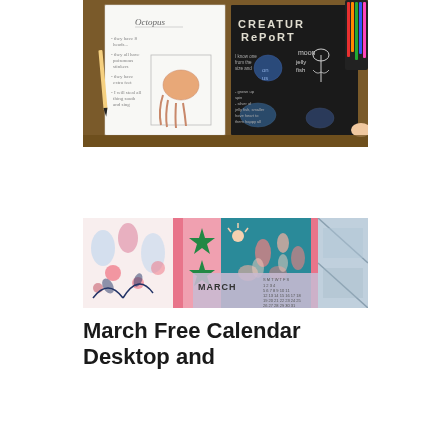[Figure (photo): Photograph of two open notebooks/sketchbooks on a wooden table. Left notebook has white pages with handwritten text 'Octopus' and a sketch of an octopus with bullet point notes. Right notebook has black chalkboard-style pages with chalk lettering reading 'CREATURE REPORT' and chalk drawings of moon jellyfish and other sea creatures. Colored pencils visible in top right corner.]
[Figure (photo): Photograph of a colorful patchwork/collage desktop calendar for March. Shows three fabric/pattern sections: pink floral with figures on white background, pink and green star pattern, teal/turquoise floral pattern, with a light blue-grey geometric section on the right. Calendar grid for March visible at bottom center.]
March Free Calendar Desktop and